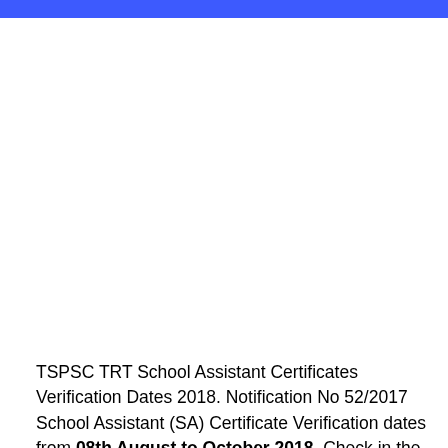TSPSC TRT School Assistant Certificates Verification Dates 2018. Notification No 52/2017 School Assistant (SA) Certificate Verification dates from 08th August to October 2018. Check in the official notification as per the